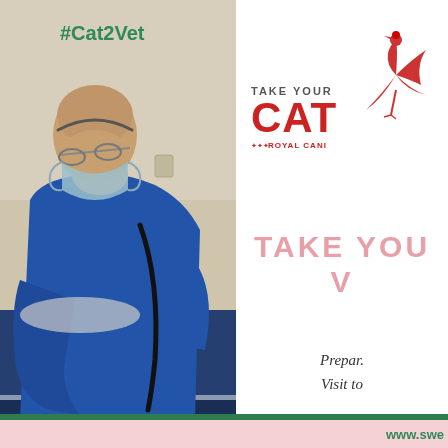[Figure (photo): Veterinarian in blue scrubs and surgical mask leaning over an examination table with a stethoscope, listening to a patient on a blue mat. Green hashtag #Cat2Vet overlaid in top portion of photo.]
[Figure (logo): Take Your Cat to the Vet logo with a crane bird illustration, showing TAKE YOUR CAT text in red with Royal Canin logo below]
TAKE YOU V
Prepar. Visit to
www.swe